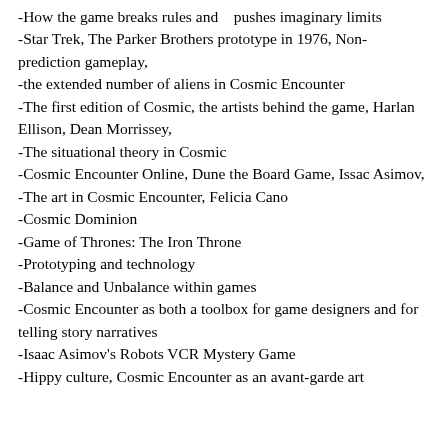-How the game breaks rules and pushes imaginary limits
-Star Trek, The Parker Brothers prototype in 1976, Non-prediction gameplay,
-the extended number of aliens in Cosmic Encounter
-The first edition of Cosmic, the artists behind the game, Harlan Ellison, Dean Morrissey,
-The situational theory in Cosmic
-Cosmic Encounter Online, Dune the Board Game, Issac Asimov,
-The art in Cosmic Encounter, Felicia Cano
-Cosmic Dominion
-Game of Thrones: The Iron Throne
-Prototyping and technology
-Balance and Unbalance within games
-Cosmic Encounter as both a toolbox for game designers and for telling story narratives
-Isaac Asimov's Robots VCR Mystery Game
-Hippy culture, Cosmic Encounter as an avant-garde art piece